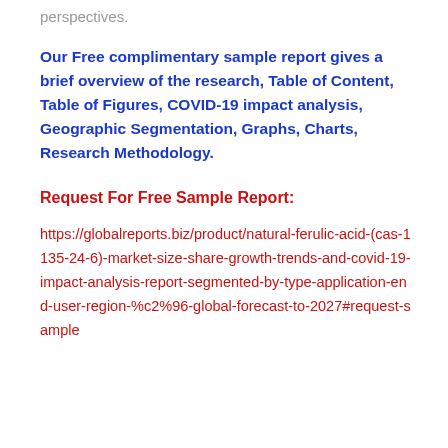perspectives.
Our Free complimentary sample report gives a brief overview of the research, Table of Content, Table of Figures, COVID-19 impact analysis, Geographic Segmentation, Graphs, Charts, Research Methodology.
Request For Free Sample Report:
https://globalreports.biz/product/natural-ferulic-acid-(cas-1135-24-6)-market-size-share-growth-trends-and-covid-19-impact-analysis-report-segmented-by-type-application-end-user-region-%c2%96-global-forecast-to-2027#request-sample